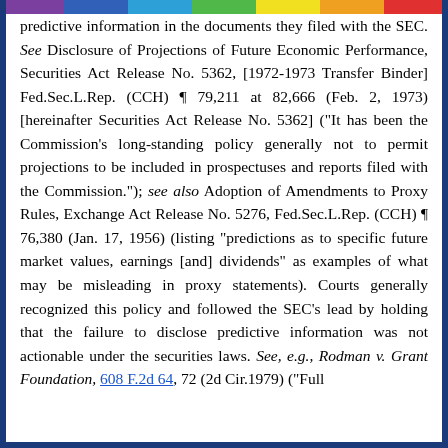predictive information in the documents they filed with the SEC. See Disclosure of Projections of Future Economic Performance, Securities Act Release No. 5362, [1972-1973 Transfer Binder] Fed.Sec.L.Rep. (CCH) ¶ 79,211 at 82,666 (Feb. 2, 1973) [hereinafter Securities Act Release No. 5362] ("It has been the Commission's long-standing policy generally not to permit projections to be included in prospectuses and reports filed with the Commission."); see also Adoption of Amendments to Proxy Rules, Exchange Act Release No. 5276, Fed.Sec.L.Rep. (CCH) ¶ 76,380 (Jan. 17, 1956) (listing "predictions as to specific future market values, earnings [and] dividends" as examples of what may be misleading in proxy statements). Courts generally recognized this policy and followed the SEC's lead by holding that the failure to disclose predictive information was not actionable under the securities laws. See, e.g., Rodman v. Grant Foundation, 608 F.2d 64, 72 (2d Cir.1979) ("Full